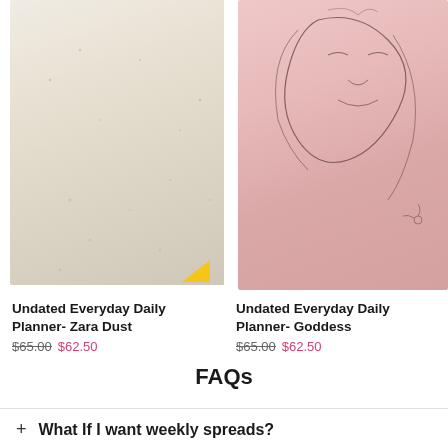[Figure (photo): Undated Everyday Daily Planner - Zara Dust: cream/beige textured planner cover with yellow corner accent, partially cropped]
Undated Everyday Daily Planner- Zara Dust
$65.00 $62.50
[Figure (photo): Undated Everyday Daily Planner - Goddess: pink planner cover with line art face illustrations, partially cropped]
Undated Everyday Daily Planner- Goddess
$65.00 $62.50
FAQs
+ What If I want weekly spreads?